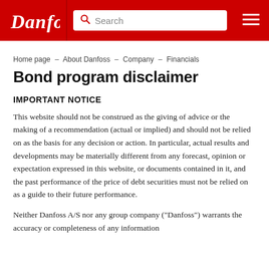Danfoss | Search | Menu
Home page – About Danfoss – Company – Financials
Bond program disclaimer
IMPORTANT NOTICE
This website should not be construed as the giving of advice or the making of a recommendation (actual or implied) and should not be relied on as the basis for any decision or action. In particular, actual results and developments may be materially different from any forecast, opinion or expectation expressed in this website, or documents contained in it, and the past performance of the price of debt securities must not be relied on as a guide to their future performance.
Neither Danfoss A/S nor any group company ("Danfoss") warrants the accuracy or completeness of any information